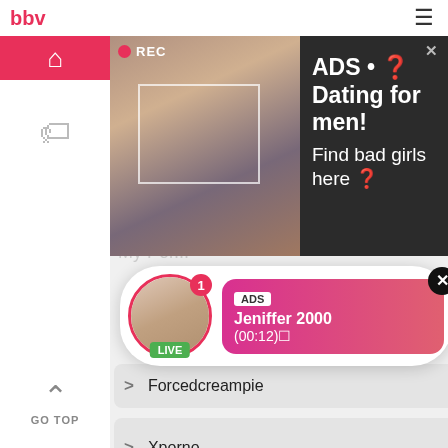bbw
[Figure (screenshot): Dark ad popup showing a woman taking a selfie with a camera overlay and REC badge. Ad text reads: ADS • Dating for men! Find bad girls here]
[Figure (screenshot): Live notification popup with avatar, LIVE badge, notification dot, ADS label, name Jeniffer 2000, time (00:12)]
Forcedcreampie
Mother And Son Porn
Xporno